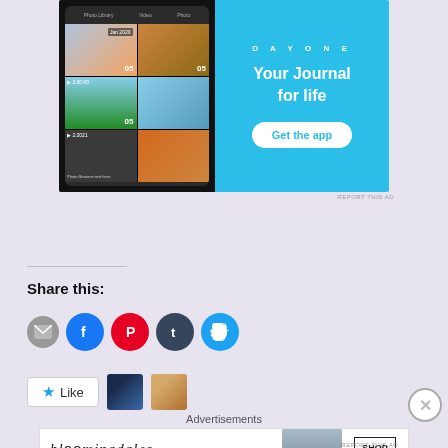[Figure (screenshot): Day One app advertisement with phone screenshot showing photo journal interface, blue background, tagline 'Your Journal for life', and 'Get the app' button]
REPORT THIS AD
Share this:
[Figure (infographic): Social share icons: email (gray), Facebook (blue), Pinterest (red), Tumblr (dark), Twitter (blue)]
[Figure (infographic): Like button with star icon and two user avatar thumbnails]
Advertisements
[Figure (screenshot): Bloomingdale's advertisement: 'View Today's Top Deals!' with 'SHOP NOW >' button]
REPORT THIS AD